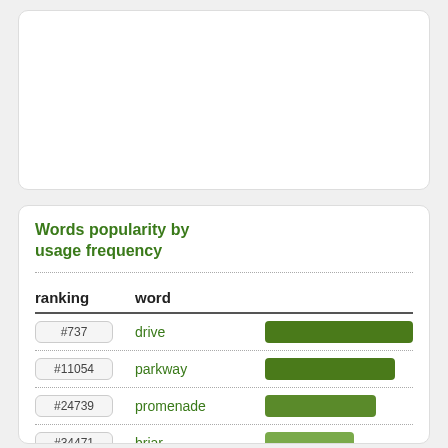[Figure (other): Empty white card at top of page]
Words popularity by usage frequency
| ranking | word |  |
| --- | --- | --- |
| #737 | drive |  |
| #11054 | parkway |  |
| #24739 | promenade |  |
| #34471 | briar |  |